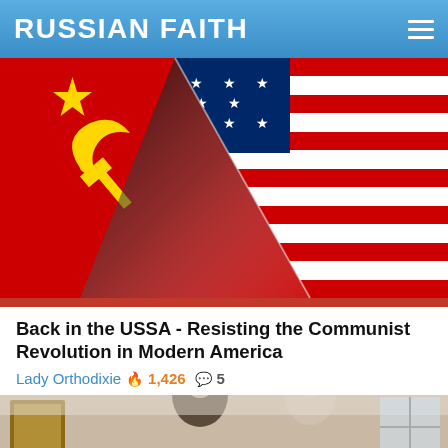RUSSIAN FAITH
[Figure (illustration): Composite image showing Soviet flag (red with hammer, sickle and star in yellow) peeling back to reveal American flag (red and white stripes with blue canton and white stars) underneath, with a curling paper/page-turn effect and dark shadow in the center]
Back in the USSA - Resisting the Communist Revolution in Modern America
Lady Orthodixie 🔥 1,426 💬 5
[Figure (photo): Partial view of people in formal attire, bottom portion of image visible, appearing to be in an interior setting with artwork on walls]